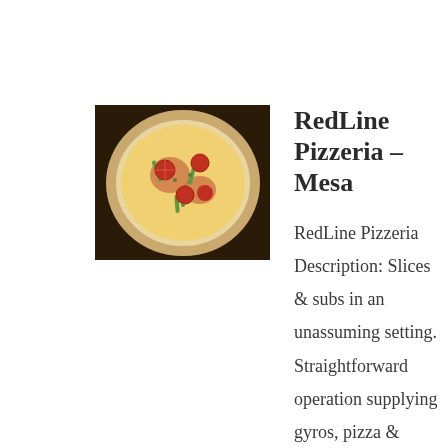[Figure (photo): Photo of a pizza with toppings including tomatoes and green peppers on a white crust, viewed from above, on a dark background]
RedLine Pizzeria – Mesa
RedLine Pizzeria Description: Slices & subs in an unassuming setting. Straightforward operation supplying gyros, pizza & sandwiches along with other comfort dishes. Address: 753 S Alma School Rd, Mesa, AZ 85210, United States Phone Number: +1 480-649-5500 Website: